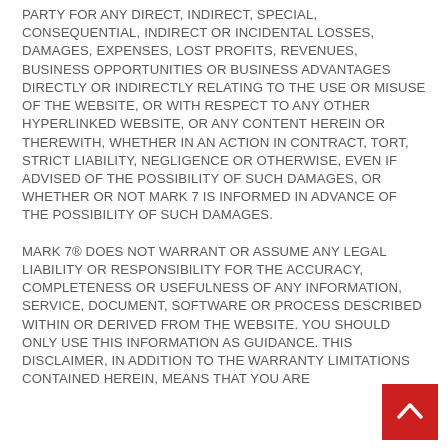PARTY FOR ANY DIRECT, INDIRECT, SPECIAL, CONSEQUENTIAL, INDIRECT OR INCIDENTAL LOSSES, DAMAGES, EXPENSES, LOST PROFITS, REVENUES, BUSINESS OPPORTUNITIES OR BUSINESS ADVANTAGES DIRECTLY OR INDIRECTLY RELATING TO THE USE OR MISUSE OF THE WEBSITE, OR WITH RESPECT TO ANY OTHER HYPERLINKED WEBSITE, OR ANY CONTENT HEREIN OR THEREWITH, WHETHER IN AN ACTION IN CONTRACT, TORT, STRICT LIABILITY, NEGLIGENCE OR OTHERWISE, EVEN IF ADVISED OF THE POSSIBILITY OF SUCH DAMAGES, OR WHETHER OR NOT MARK 7 IS INFORMED IN ADVANCE OF THE POSSIBILITY OF SUCH DAMAGES.
MARK 7® DOES NOT WARRANT OR ASSUME ANY LEGAL LIABILITY OR RESPONSIBILITY FOR THE ACCURACY, COMPLETENESS OR USEFULNESS OF ANY INFORMATION, SERVICE, DOCUMENT, SOFTWARE OR PROCESS DESCRIBED WITHIN OR DERIVED FROM THE WEBSITE. YOU SHOULD ONLY USE THIS INFORMATION AS GUIDANCE. THIS DISCLAIMER, IN ADDITION TO THE WARRANTY LIMITATIONS CONTAINED HEREIN, MEANS THAT YOU ARE